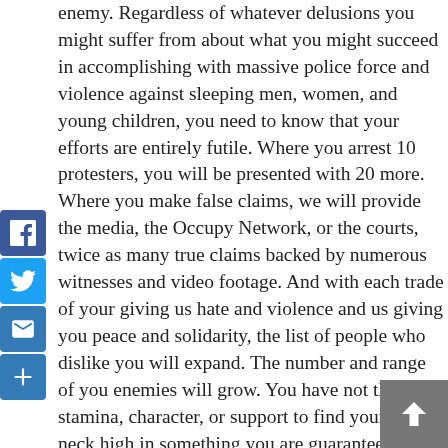enemy. Regardless of whatever delusions you might suffer from about what you might succeed in accomplishing with massive police force and violence against sleeping men, women, and young children, you need to know that your efforts are entirely futile. Where you arrest 10 protesters, you will be presented with 20 more. Where you make false claims, we will provide the media, the Occupy Network, or the courts, twice as many true claims backed by numerous witnesses and video footage. And with each trade of your giving us hate and violence and us giving you peace and solidarity, the list of people who dislike you will expand. The number and range of you enemies will grow. You have not the stamina, character, or support to find yourself neck high in something you are guaranteed to lose. I cannot think of any reasonable advice to give you, except perhaps to apologize to these men, women, and young children whom you've terrorized with violence and weaponry, and resign your
[Figure (other): Social share buttons sidebar: Facebook (blue), Twitter (blue), Email (blue), Plus/Add (blue)]